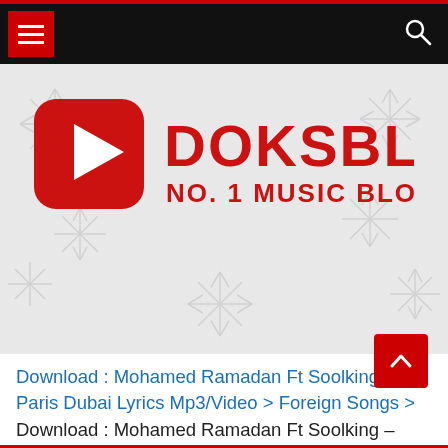DOKSBLOG - NO. 1 MUSIC BLOG (navigation header with hamburger menu and search icon)
[Figure (logo): DOKSBLOG logo with red play button icon and text 'DOKSBLOG NO. 1 MUSIC BLOG' on a snowflake patterned background]
Download : Mohamed Ramadan Ft Soolking – Paris Dubai Lyrics Mp3/Video > Foreign Songs > Download : Mohamed Ramadan Ft Soolking – Paris Dubai Lyrics Mp3/Video